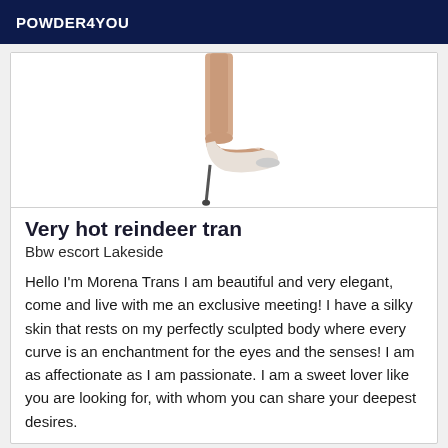POWDER4YOU
[Figure (photo): Partial image of legs wearing white high-heel shoes on white background]
Very hot reindeer tran
Bbw escort Lakeside
Hello I'm Morena Trans I am beautiful and very elegant, come and live with me an exclusive meeting! I have a silky skin that rests on my perfectly sculpted body where every curve is an enchantment for the eyes and the senses! I am as affectionate as I am passionate. I am a sweet lover like you are looking for, with whom you can share your deepest desires.
Online